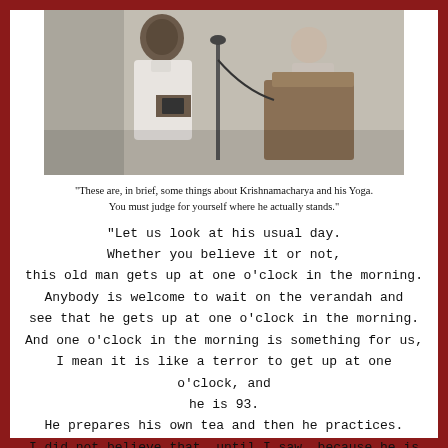[Figure (photo): Black and white photograph of two people, one holding what appears to be a book or document, standing near a microphone and podium.]
“These are, in brief, some things about Krishnamacharya and his Yoga. You must judge for yourself where he actually stands.”
“Let us look at his usual day. Whether you believe it or not, this old man gets up at one o’clock in the morning. Anybody is welcome to wait on the verandah and see that he gets up at one o’clock in the morning. And one o’clock in the morning is something for us, I mean it is like a terror to get up at one o’clock, and he is 93. He prepares his own tea and then he practices. I did not believe that, until I saw, because he is